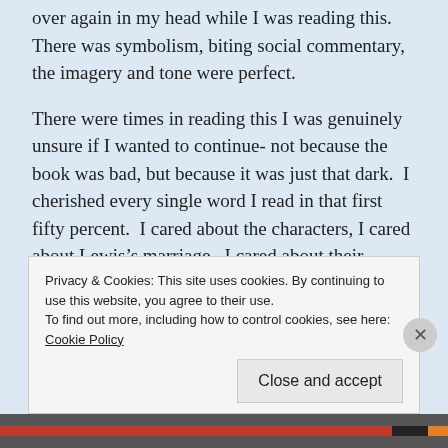over again in my head while I was reading this. There was symbolism, biting social commentary, the imagery and tone were perfect.
There were times in reading this I was genuinely unsure if I wanted to continue- not because the book was bad, but because it was just that dark. I cherished every single word I read in that first fifty percent. I cared about the characters, I cared about Lewis’s marriage. I cared about their friendships and their pets. If this had been a novella, and had ended after Lewis’s part, I think it would have been damn near perfect.
Privacy & Cookies: This site uses cookies. By continuing to use this website, you agree to their use.
To find out more, including how to control cookies, see here: Cookie Policy